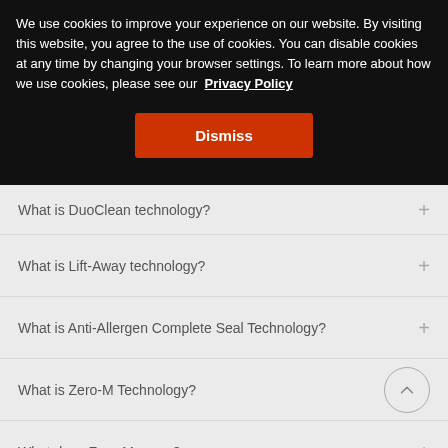We use cookies to improve your experience on our website. By visiting this website, you agree to the use of cookies. You can disable cookies at any time by changing your browser settings. To learn more about how we use cookies, please see our Privacy Policy
Dismiss
What is DuoClean technology?
What is Lift-Away technology?
What is Anti-Allergen Complete Seal Technology?
What is Zero-M Technology?
What does Zero-M mean?